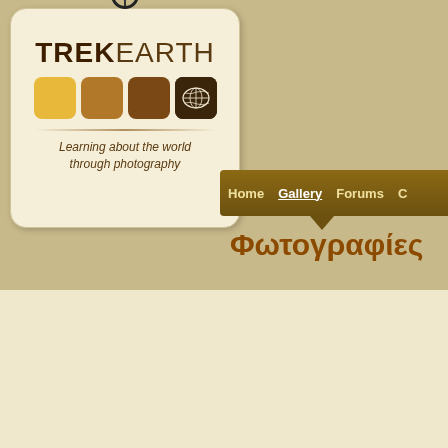[Figure (logo): TrekEarth logo: tag-shaped badge with string/ring at top, bold TREK EARTH text, four colored squares (yellow, medium brown, dark brown, darkest brown with world map icon), decorative divider line, tagline 'Learning about the world through photography']
Home  Gallery  Forums  C...
Φωτογραφίες
Γη → Ασία → Uzbekistan → West → Bukhara → Bukhara →
::: ~ focusing ~